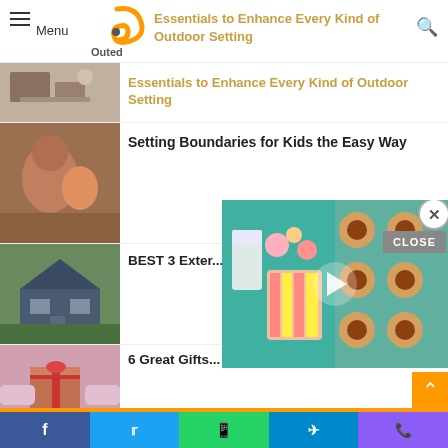Menu | Outed | Essentials to Enhance Every Kind of Outdoor Setting
[Figure (photo): Indoor scene with furniture and decor]
Essentials to Enhance Every Kind of Outdoor Setting
[Figure (photo): Mother and baby lying together]
Setting Boundaries for Kids the Easy Way
[Figure (photo): House exterior with blue siding and green lawn]
BEST 3 Exter... Your Pennsyl...
[Figure (photo): Person holding a gift with red bow]
6 Great Gifts... Love
[Figure (photo): Group of people faces at bottom]
How Can Employing a Trustw... Car
[Figure (photo): Video overlay showing cookies and colorful pastries]
Facebook | Twitter | WhatsApp | Telegram | Phone